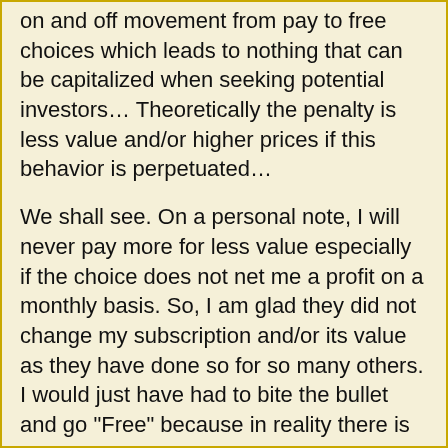on and off movement from pay to free choices which leads to nothing that can be capitalized when seeking potential investors… Theoretically the penalty is less value and/or higher prices if this behavior is perpetuated…
We shall see. On a personal note, I will never pay more for less value especially if the choice does not net me a profit on a monthly basis. So, I am glad they did not change my subscription and/or its value as they have done so for so many others. I would just have had to bite the bullet and go "Free" because in reality there is no profit stream for me as a photographer.
I predict that a smart tech will come along and blow them out of the water soon enough because frankly they have not thought this through. The customer uses this service for sales/profits and if you start killing someone's profits guess what happens.
My featured artist this evening is the brilliant group